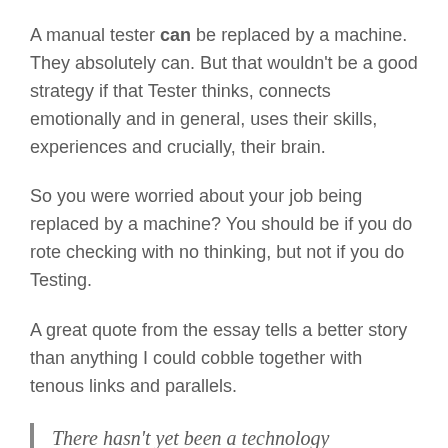A manual tester can be replaced by a machine. They absolutely can. But that wouldn't be a good strategy if that Tester thinks, connects emotionally and in general, uses their skills, experiences and crucially, their brain.
So you were worried about your job being replaced by a machine? You should be if you do rote checking with no thinking, but not if you do Testing.
A great quote from the essay tells a better story than anything I could cobble together with tenous links and parallels.
There hasn't yet been a technology that has resulted in our working less.